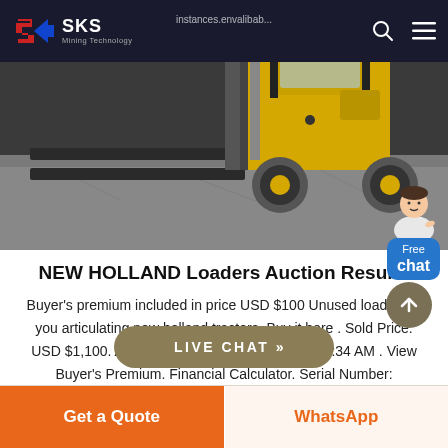[Figure (screenshot): Website header with SKS Mining Technology logo on dark background, search icon and hamburger menu icons on the right. URL text partially visible at top.]
[Figure (photo): Photograph of a New Holland forklift/loader with yellow body and black forks, viewed from the front-left angle on a concrete surface.]
NEW HOLLAND Loaders Auction Results
Buyer's premium included in price USD $100 Unused loader fits you articulating new holland tractors. Buy it here . Sold Price: USD $1,100. Auction Ended: Wed, March 18, 10:34 AM . View Buyer's Premium. Financial Calculator. Serial Number: UNKNOWN Condition: Used Updated:.
[Figure (other): LIVE CHAT button in olive/brown rounded rectangle style]
[Figure (other): Free chat widget with avatar and blue speech bubble saying Free chat]
[Figure (other): Scroll to top circular button with upward arrow]
Get a Quote
WhatsApp